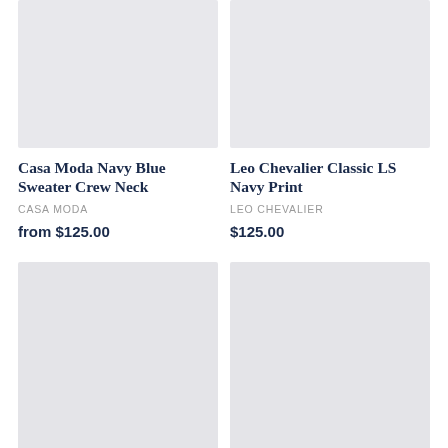[Figure (photo): Product image placeholder for Casa Moda Navy Blue Sweater Crew Neck (top-left, light gray rectangle)]
[Figure (photo): Product image placeholder for Leo Chevalier Classic LS Navy Print (top-right, light gray rectangle)]
Casa Moda Navy Blue Sweater Crew Neck
CASA MODA
from $125.00
Leo Chevalier Classic LS Navy Print
LEO CHEVALIER
$125.00
[Figure (photo): Product image placeholder (bottom-left, light gray rectangle)]
[Figure (photo): Product image placeholder (bottom-right, light gray rectangle)]